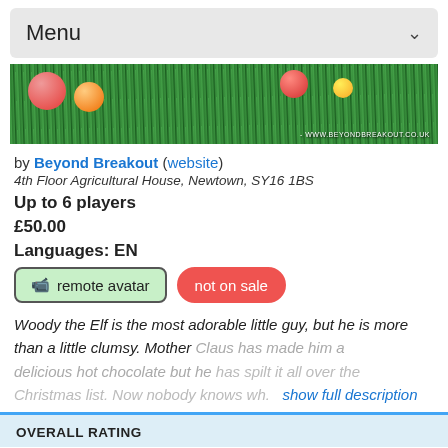Menu
[Figure (photo): Christmas banner with green tinsel/grass background, red and gold ornaments, and URL www.beyondbreakout.co.uk]
by Beyond Breakout (website)
4th Floor Agricultural House, Newtown, SY16 1BS
Up to 6 players
£50.00
Languages: EN
remote avatar | not on sale
Woody the Elf is the most adorable little guy, but he is more than a little clumsy. Mother Claus has made him a delicious hot chocolate but he has spilt it all over the Christmas list. Now nobody knows wh. show full description
OVERALL RATING